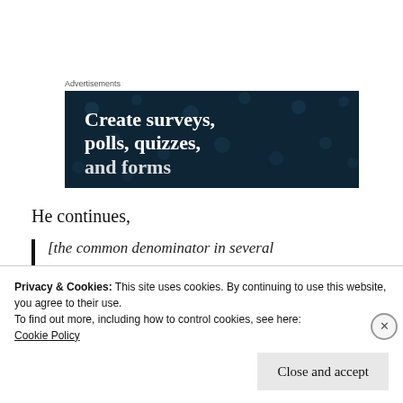[Figure (other): Advertisement banner with dark navy background and white bold text reading 'Create surveys, polls, quizzes, and forms' with decorative dot pattern]
He continues,
[the common denominator in several
Privacy & Cookies: This site uses cookies. By continuing to use this website, you agree to their use.
To find out more, including how to control cookies, see here:
Cookie Policy